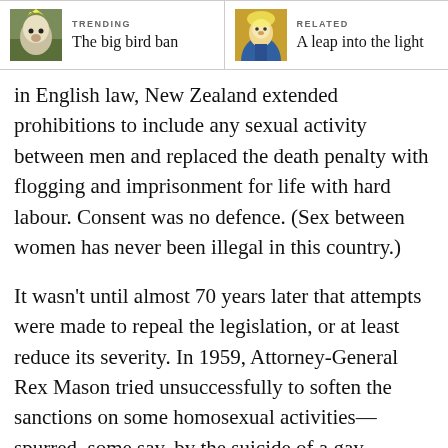TRENDING: The big bird ban | RELATED: A leap into the light
in English law, New Zealand extended prohibitions to include any sexual activity between men and replaced the death penalty with flogging and imprisonment for life with hard labour. Consent was no defence. (Sex between women has never been illegal in this country.)
It wasn't until almost 70 years later that attempts were made to repeal the legislation, or at least reduce its severity. In 1959, Attorney-General Rex Mason tried unsuccessfully to soften the sanctions on some homosexual activities—spurred, some say, by the suicide of a gay acquaintance. The Crimes Act 1961 did away with the threat of life imprisonment for sodomy, but still kept it illegal. Impatient for change,